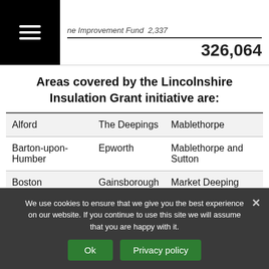|  |  | 326,064 |
Areas covered by the Lincolnshire Insulation Grant initiative are:
| Alford | The Deepings | Mablethorpe |
| Barton-upon-Humber | Epworth | Mablethorpe and Sutton |
| Boston | Gainsborough | Market Deeping |
| Bottesford | Grantham | Market Rasen |
We use cookies to ensure that we give you the best experience on our website. If you continue to use this site we will assume that you are happy with it.